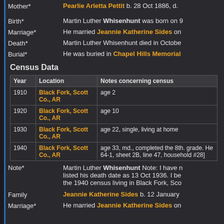Mother* — Pearlie Arletta Pettit b. 28 Oct 1886, d.
Birth* — Martin Luther Whisenhunt was born on 9
Marriage* — He married Jeannie Katherine Sides on
Death* — Martin Luther Whisenhunt died in October
Burial* — He was buried in Chapel Hills Memorial
Census Data
| Year | Location | Notes concerning census |
| --- | --- | --- |
| 1910 | Black Fork, Scott Co., AR | age 2 |
| 1920 | Black Fork, Scott Co., AR | age 10 |
| 1930 | Black Fork, Scott Co., AR | age 22, single, living at home |
| 1940 | Black Fork, Scott Co., AR | age 33, md., completed the 8th. grade. He 64-1, sheet 2B, line 47, household #28] |
Note* — Martin Luther Whisenhunt Note: I have listed his death date as 13 Oct 1936. I be the 1940 census living in Black Fork, Sco
Family — Jeannie Katherine Sides b. 12 January
Marriage* — He married Jeannie Katherine Sides on